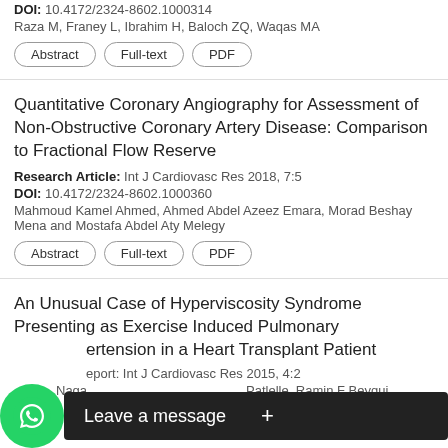DOI: 10.4172/2324-8602.1000314
Raza M, Franey L, Ibrahim H, Baloch ZQ, Waqas MA
Abstract
Full-text
PDF
Quantitative Coronary Angiography for Assessment of Non-Obstructive Coronary Artery Disease: Comparison to Fractional Flow Reserve
Research Article: Int J Cardiovasc Res 2018, 7:5
DOI: 10.4172/2324-8602.1000360
Mahmoud Kamel Ahmed, Ahmed Abdel Azeez Emara, Morad Beshay Mena and Mostafa Abdel Aty Melegy
Abstract
Full-text
PDF
An Unusual Case of Hyperviscosity Syndrome Presenting as Exercise Induced Pulmonary Hypertension in a Heart Transplant Patient
Case Report: Int J Cardiovasc Res 2015, 4:2
Naga... Patlelle, Ramin F Beyqui...